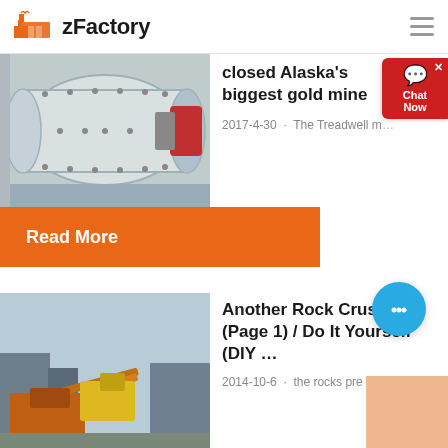zFactory
[Figure (photo): Industrial ball mill machinery, large cylindrical drum with bolted plates, grey and red equipment]
closed Alaska's biggest gold mine
2017-4-30 · The Treadwell m…
Read More
[Figure (photo): Rock crusher plant at an industrial site with orange and yellow machinery, conveyor belts, and buildings in background]
Another Rock Crusher (Page 1) / Do It Yourself (DIY …
2014-10-6 · the rocks pre crush…